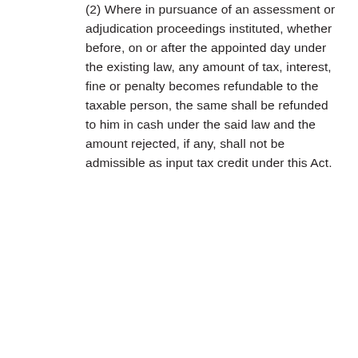(2) Where in pursuance of an assessment or adjudication proceedings instituted, whether before, on or after the appointed day under the existing law, any amount of tax, interest, fine or penalty becomes refundable to the taxable person, the same shall be refunded to him in cash under the said law and the amount rejected, if any, shall not be admissible as input tax credit under this Act.